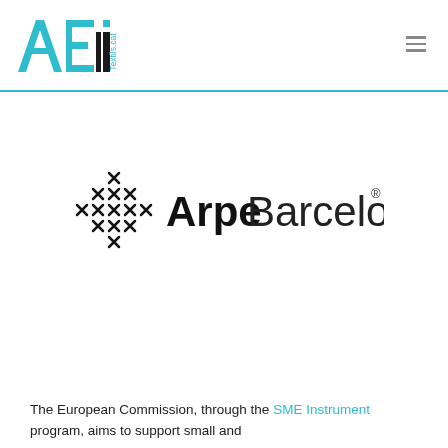[Figure (logo): AEI Textils.cat logo — large teal letters A, E, i with 'Textils.cat' in small teal text]
[Figure (logo): Arpe Barcelona® logo — black snowflake/grid pattern icon followed by bold 'Arpe' and regular 'Barcelona' in dark text with registered trademark symbol]
The European Commission, through the SME Instrument program, aims to support small and